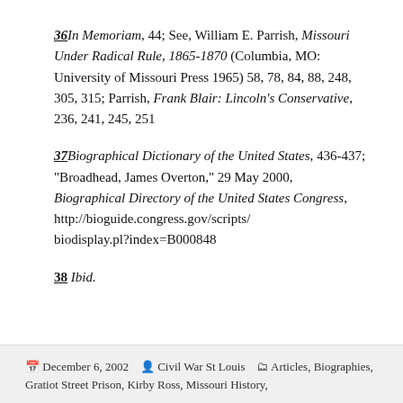36 In Memoriam, 44; See, William E. Parrish, Missouri Under Radical Rule, 1865-1870 (Columbia, MO: University of Missouri Press 1965) 58, 78, 84, 88, 248, 305, 315; Parrish, Frank Blair: Lincoln's Conservative, 236, 241, 245, 251
37 Biographical Dictionary of the United States, 436-437; "Broadhead, James Overton," 29 May 2000, Biographical Directory of the United States Congress, http://bioguide.congress.gov/scripts/ biodisplay.pl?index=B000848
38 Ibid.
December 6, 2002   Civil War St Louis   Articles, Biographies, Gratiot Street Prison, Kirby Ross, Missouri History,